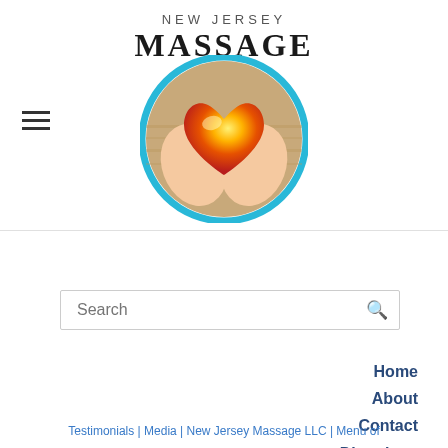[Figure (logo): New Jersey Massage logo with text 'NEW JERSEY MASSAGE' above a circular image of two hands holding a glowing red/orange heart, with a teal/cyan circle border]
[Figure (illustration): Hamburger menu icon (three horizontal lines) on the left side of the header]
Search
Home
About
Contact
Directions
Testimonials | Media | New Jersey Massage LLC | Menu of